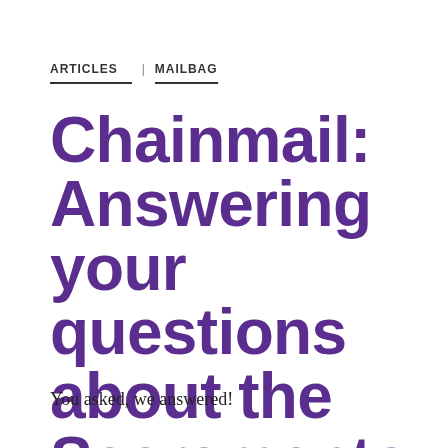ARTICLES | MAILBAG
Chainmail: Answering your questions about the Sacramento Kings
You asked, we answered!